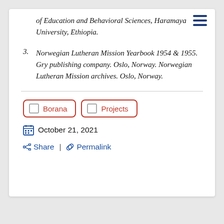of Education and Behavioral Sciences, Haramaya University, Ethiopia.
3. Norwegian Lutheran Mission Yearbook 1954 & 1955. Gry publishing company. Oslo, Norway. Norwegian Lutheran Mission archives. Oslo, Norway.
Borana   Projects
October 21, 2021
Share | Permalink